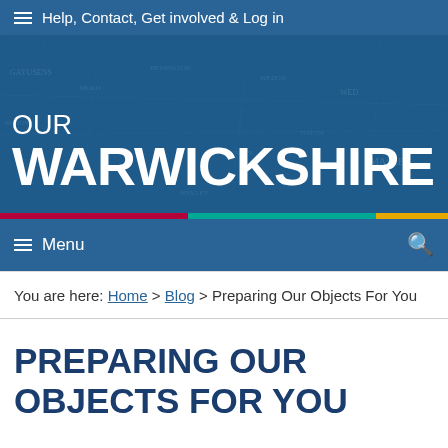☰ Help, Contact, Get involved & Log in
[Figure (screenshot): Our Warwickshire website banner with historical map background showing 'OUR WARWICKSHIRE' text in white on dark blue background]
☰ Menu
You are here: Home > Blog > Preparing Our Objects For You
PREPARING OUR OBJECTS FOR YOU